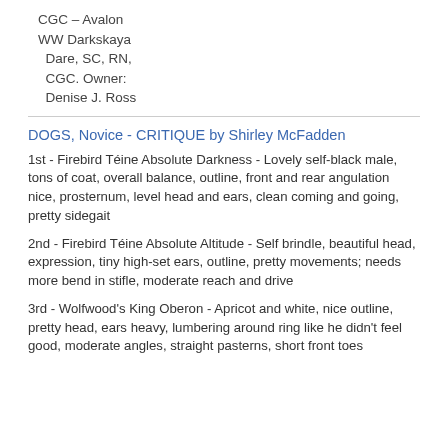CGC – Avalon WW Darkskaya Dare, SC, RN, CGC. Owner: Denise J. Ross
DOGS, Novice - CRITIQUE by Shirley McFadden
1st - Firebird Téine Absolute Darkness - Lovely self-black male, tons of coat, overall balance, outline, front and rear angulation nice, prosternum, level head and ears, clean coming and going, pretty sidegait
2nd - Firebird Téine Absolute Altitude - Self brindle, beautiful head, expression, tiny high-set ears, outline, pretty movements; needs more bend in stifle, moderate reach and drive
3rd - Wolfwood's King Oberon - Apricot and white, nice outline, pretty head, ears heavy, lumbering around ring like he didn't feel good, moderate angles, straight pasterns, short front toes